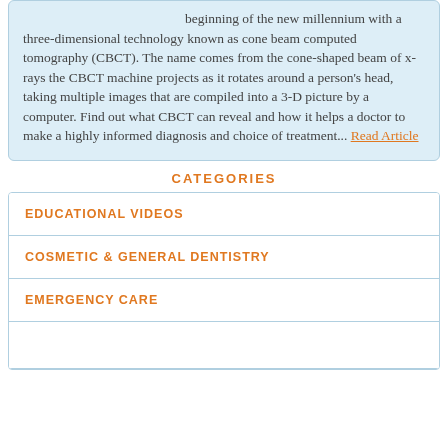beginning of the new millennium with a three-dimensional technology known as cone beam computed tomography (CBCT). The name comes from the cone-shaped beam of x-rays the CBCT machine projects as it rotates around a person's head, taking multiple images that are compiled into a 3-D picture by a computer. Find out what CBCT can reveal and how it helps a doctor to make a highly informed diagnosis and choice of treatment... Read Article
CATEGORIES
EDUCATIONAL VIDEOS
COSMETIC & GENERAL DENTISTRY
EMERGENCY CARE